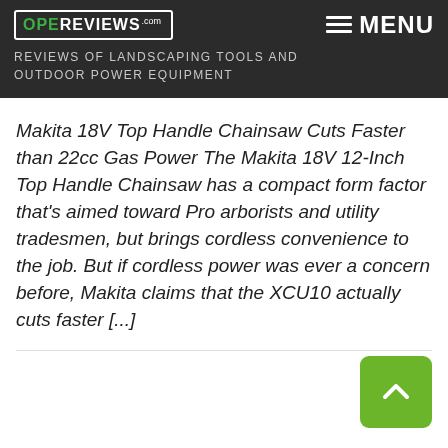OPEREVIEWS.com — REVIEWS OF LANDSCAPING TOOLS AND OUTDOOR POWER EQUIPMENT
Makita 18V Top Handle Chainsaw Cuts Faster than 22cc Gas Power The Makita 18V 12-Inch Top Handle Chainsaw has a compact form factor that's aimed toward Pro arborists and utility tradesmen, but brings cordless convenience to the job. But if cordless power was ever a concern before, Makita claims that the XCU10 actually cuts faster [...]
[Figure (other): Green back-to-top button with upward chevron arrow in the bottom right corner]